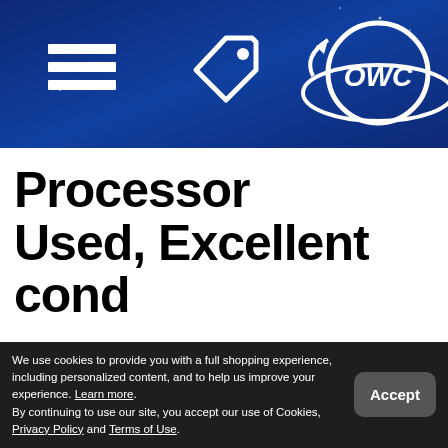OWC navigation header with hamburger menu, tag icon, and OWC logo
Processor
Used, Excellent cond
Model: MK482CT/A    SKU: UA
We use cookies to provide you with a full shopping experience, including personalized content, and to help us improve your experience. Learn more. By continuing to use our site, you accept our use of Cookies, Privacy Policy and Terms of Use.